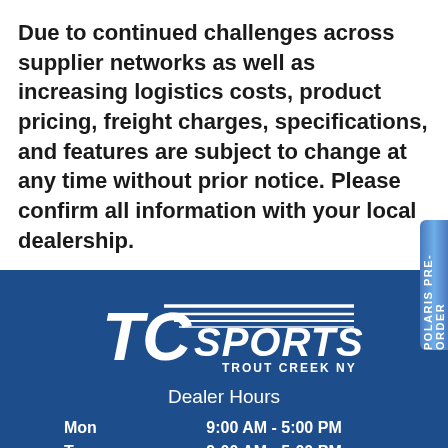Due to continued challenges across supplier networks as well as increasing logistics costs, product pricing, freight charges, specifications, and features are subject to change at any time without prior notice. Please confirm all information with your local dealership.
[Figure (logo): TC Sports - Trout Creek NY dealership logo, white text on dark blue background with speed lines]
Dealer Hours
| Day | Hours |
| --- | --- |
| Mon | 9:00 AM - 5:00 PM |
| Tue | 9:00 AM - 5:00 PM |
| Wed | 9:00 AM - 5:00 PM |
| Thu | 9:00 AM - 5:00 PM |
| Fri | 9:00 AM - 5:00 PM |